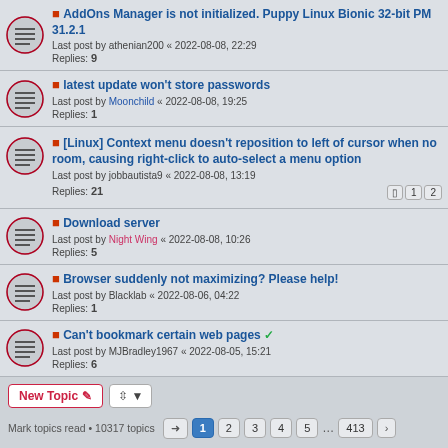AddOns Manager is not initialized. Puppy Linux Bionic 32-bit PM 31.2.1
Last post by athenian200 « 2022-08-08, 22:29
Replies: 9
latest update won't store passwords
Last post by Moonchild « 2022-08-08, 19:25
Replies: 1
[Linux] Context menu doesn't reposition to left of cursor when no room, causing right-click to auto-select a menu option
Last post by jobbautista9 « 2022-08-08, 13:19
Replies: 21
Download server
Last post by Night Wing « 2022-08-08, 10:26
Replies: 5
Browser suddenly not maximizing? Please help!
Last post by Blacklab « 2022-08-06, 04:22
Replies: 1
Can't bookmark certain web pages
Last post by MJBradley1967 « 2022-08-05, 15:21
Replies: 6
New Topic  |  Mark topics read • 10317 topics  1 2 3 4 5 … 413  Jump to